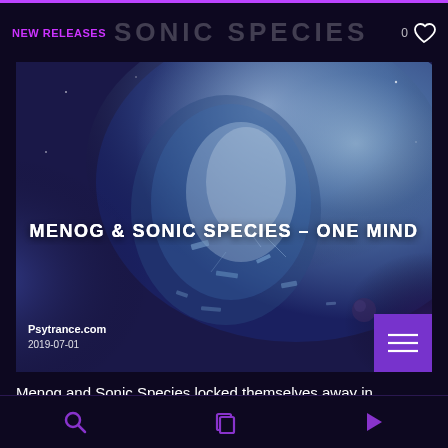NEW RELEASES  SONIC SPECIES  0 ♡
[Figure (illustration): Album cover artwork showing a fragmented digital human head/face dissolving against a cosmic blue and purple nebula background. The image has the title text overlaid: MENOG & SONIC SPECIES – ONE MIND. Source credit: Psytrance.com, 2019-07-01]
MENOG & SONIC SPECIES – ONE MIND
Psytrance.com
2019-07-01
Menog and Sonic Species locked themselves away in the new and very updated Menog lab hidden deep in the hills of Portugal and let their mind